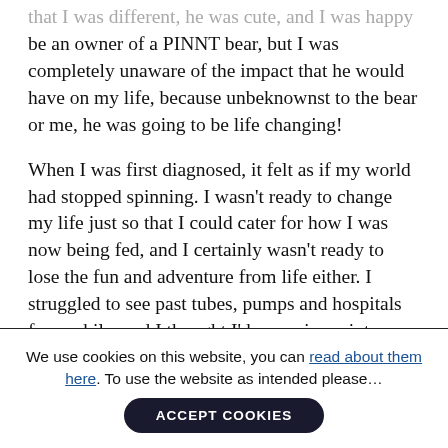that I was different, he was cute, and I was happy to be an owner of a PINNT bear, but I was completely unaware of the impact that he would have on my life, because unbeknownst to the bear or me, he was going to be life changing!
When I was first diagnosed, it felt as if my world had stopped spinning. I wasn't ready to change my life just so that I could cater for how I was now being fed, and I certainly wasn't ready to lose the fun and adventure from life either. I struggled to see past tubes, pumps and hospitals for a while, and I thought I'd never jump into a swimming pool again, let alone jump onto an
We use cookies on this website, you can read about them here. To use the website as intended please...
ACCEPT COOKIES